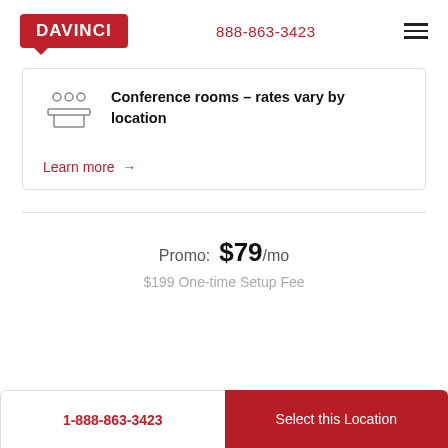DAVINCI | 888-863-3423
Conference rooms – rates vary by location
Learn more →
Promo: $79/mo
$199 One-time Setup Fee
1-888-863-3423
Select this Location